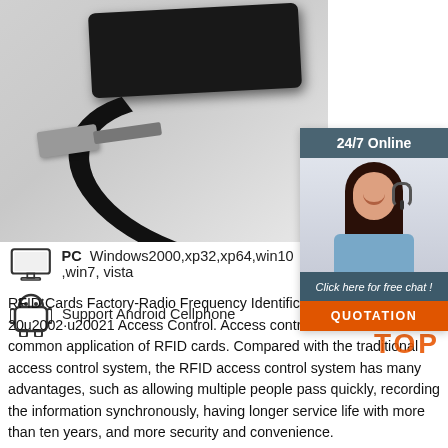[Figure (photo): Product photo of a black RFID USB card reader with a USB cable coiled beside it, on a light gray background]
[Figure (infographic): 24/7 Online customer support widget showing an agent with headset, 'Click here for free chat!' text, and an orange QUOTATION button]
[Figure (infographic): Compatibility icons: PC monitor icon with text 'PC  Windows2000,xp32,xp64,win10 ,win7, vista' and Android robot icon with text 'Support Android Cellphone']
RFID Cards Factory-Radio Frequency Identification 2021-10-20u2002·u20021 Access Control. Access control is the most common application of RFID cards. Compared with the traditional access control system, the RFID access control system has many advantages, such as allowing multiple people pass quickly, recording the information synchronously, having longer service life with more than ten years, and more security and convenience.